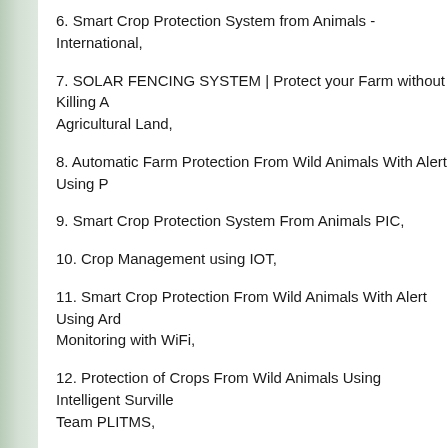6. Smart Crop Protection System from Animals - International,
7. SOLAR FENCING SYSTEM | Protect your Farm without Killing A Agricultural Land,
8. Automatic Farm Protection From Wild Animals With Alert Using P
9. Smart Crop Protection System From Animals PIC,
10. Crop Management using IOT,
11. Smart Crop Protection From Wild Animals With Alert Using Ard Monitoring with WiFi,
12. Protection of Crops From Wild Animals Using Intelligent Surville Team PLITMS,
13. Smart Crop Protection using IOT,
14. Smart Crop Protection System From Animals Using Arduino | L
15. Smart crop protection system based on IoT,